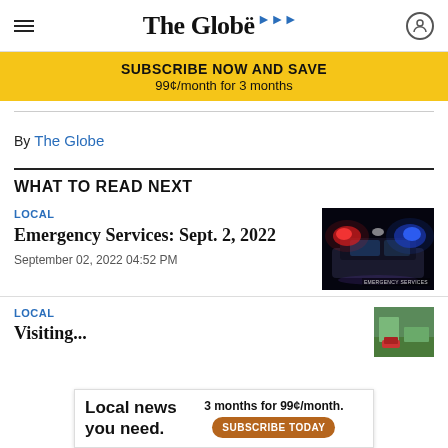The Globe
SUBSCRIBE NOW AND SAVE
99¢/month for 3 months
By The Globe
WHAT TO READ NEXT
LOCAL
Emergency Services: Sept. 2, 2022
September 02, 2022 04:52 PM
[Figure (photo): Police car with flashing red and blue lights at night, labeled EMERGENCY SERVICES]
LOCAL
Visiti...
[Figure (infographic): Advertisement overlay: Local news you need. 3 months for 99¢/month. SUBSCRIBE TODAY]